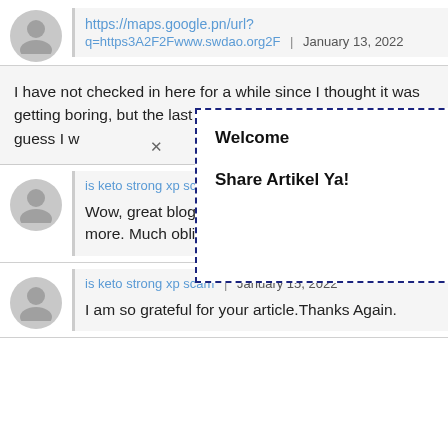https://maps.google.pn/url?q=https3A2F2Fwww.swdao.org2F | January 13, 2022
I have not checked in here for a while since I thought it was getting boring, but the last few posts are good quality so I guess I w... ...rve it my friend
Welcome
Share Artikel Ya!
is keto strong xp scam | January 15, 2022
Wow, great blog.Really looking forward to read more. Much obliged.
is keto strong xp scam | January 15, 2022
I am so grateful for your article.Thanks Again.